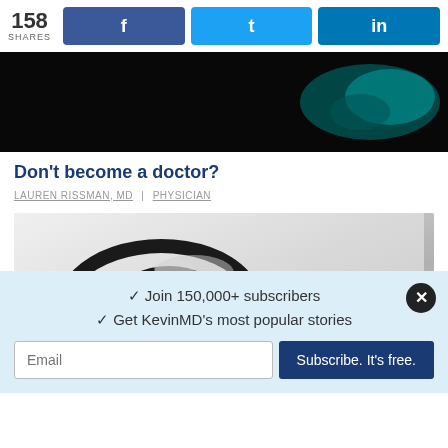158 SHARES
[Figure (photo): Dark background with teal stethoscope photo]
Don't become a doctor?
LAUREN RISSMAN, MD | PHYSICIAN
[Figure (photo): Close-up of a black stethoscope on a white/grey background]
✓ Join 150,000+ subscribers
✓ Get KevinMD's most popular stories
Email
Subscribe. It's free.